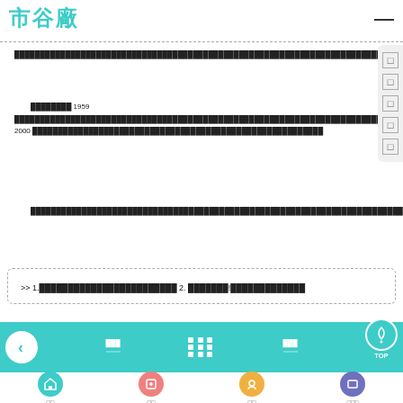市谷廠
█████████████████████████████████████████████
████████ 1959 ████████████████████████████████████████████████████████ 2000 ████████████████████████████████
██████████████████████████████████████████████████████████████████████
>> 1.████████████████ 2. ███████!██████████
███ ███ TOP
□□ □□ □□ □□□